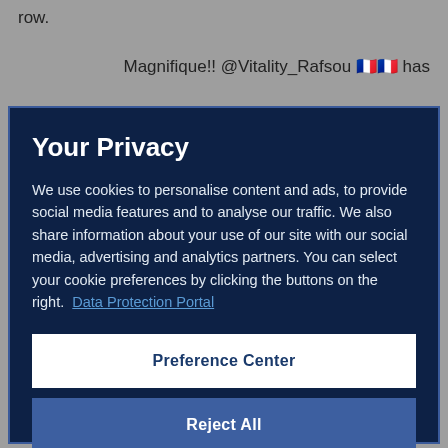row.
Magnifique!! @Vitality_Rafsou 🇫🇷🇫🇷 has
Your Privacy
We use cookies to personalise content and ads, to provide social media features and to analyse our traffic. We also share information about your use of our site with our social media, advertising and analytics partners. You can select your cookie preferences by clicking the buttons on the right.  Data Protection Portal
Preference Center
Reject All
I'm OK with that